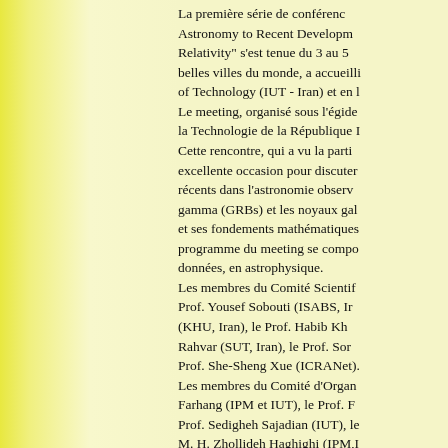La première série de conférences "From Astronomy to Recent Developments in Astrophysics and Relativity" s'est tenue du 3 au 5 mai 2010 dans l'une des belles villes du monde, a accueilli l'Isfahan University of Technology (IUT - Iran) et en l'honneur de... Le meeting, organisé sous l'égide du Ministère de la Technologie de la République Islamique d'Iran. Cette rencontre, qui a vu la participation de nombreux, excellente occasion pour discuter les développements récents dans l'astronomie observationnelle, les sursauts gamma (GRBs) et les noyaux galactiques actifs (AGNs), et ses fondements mathématiques. Le programme du meeting se compose de l'analyse des données, en astrophysique. Les membres du Comité Scientifique comprennent: le Prof. Yousef Sobouti (ISABS, Iran), le Prof. ... (KHU, Iran), le Prof. Habib Kh..., le Prof. Sohrab Rahvar (SUT, Iran), le Prof. Sor... et le Prof. She-Sheng Xue (ICRANet). Les membres du Comité d'Organisation: le Prof. Farhang (IPM et IUT), le Prof. F..., le Prof. Sedigheh Sajadian (IUT), le Prof. ..., M. H. Zhollideh Haghighi (IPM,I...). Le discours d'ouverture a été pr... Recherche et de la Technologie...